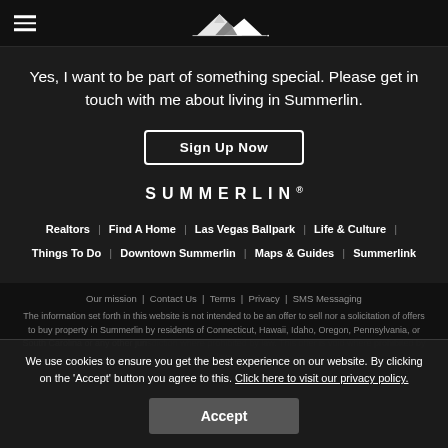Summerlin header with hamburger menu and mountain logo
Yes, I want to be part of something special. Please get in touch with me about living in Summerlin.
Sign Up Now
SUMMERLIN®
Realtors | Find A Home | Las Vegas Ballpark | Life & Culture | Things To Do | Downtown Summerlin | Maps & Guides | Summerlink
Our mission | Contact Us | Terms | Privacy | SMS Messaging
The information set forth in this website is not intended to be an offer to sell nor a solicitation of offers to buy property in Summerlin by residents of Connecticut, Hawaii, Idaho, Oregon, Pennsylvania, or South Carolina or any other jurisdiction where prohibited by law. This offer is void where prohibited by law.
We use cookies to ensure you get the best experience on our website. By clicking on the 'Accept' button you agree to this. Click here to visit our privacy policy.
Accept